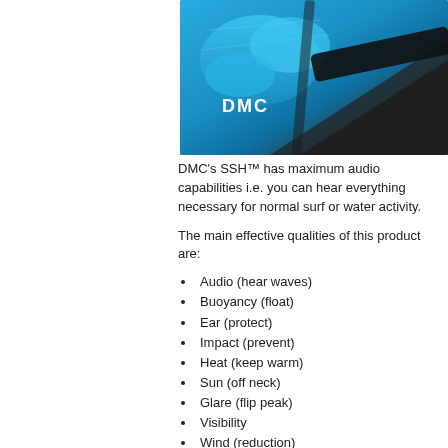[Figure (photo): Close-up photo of a DMC branded surf/water sports ear protection product in blue and black, with DMC logo visible in white text]
DMC's SSH™ has maximum audio capabilities i.e. you can hear everything necessary for normal surf or water activity.
The main effective qualities of this product are:
Audio (hear waves)
Buoyancy (float)
Ear (protect)
Impact (prevent)
Heat (keep warm)
Sun (off neck)
Glare (flip peak)
Visibility
Wind (reduction)
SSH™ is a must for any extreme watersport or even junior watersport likely to have possible impact namely:
Surfing